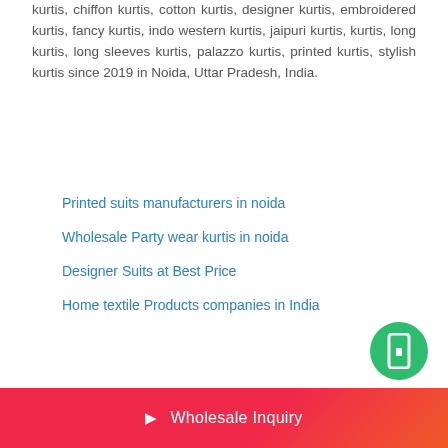kurtis, chiffon kurtis, cotton kurtis, designer kurtis, embroidered kurtis, fancy kurtis, indo western kurtis, jaipuri kurtis, kurtis, long kurtis, long sleeves kurtis, palazzo kurtis, printed kurtis, stylish kurtis since 2019 in Noida, Uttar Pradesh, India.
Printed suits manufacturers in noida
Wholesale Party wear kurtis in noida
Designer Suits at Best Price
Home textile Products companies in India
Wholesale Inquiry